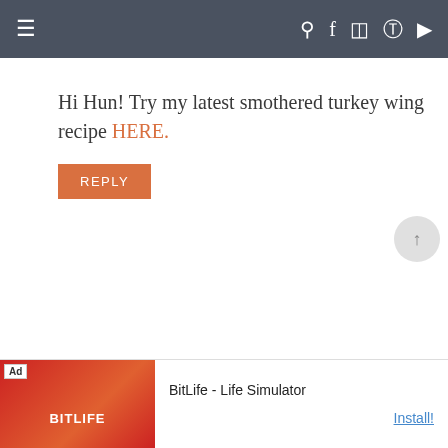≡  [search] [facebook] [instagram] [pinterest] [youtube]
Hi Hun! Try my latest smothered turkey wing recipe HERE.
REPLY
SHARYL CONNOR SAYS
JULY 31, 2017 AT 10:02 PM
Keep me sign up!
[Figure (screenshot): Ad banner for BitLife - Life Simulator app with red background and game imagery]